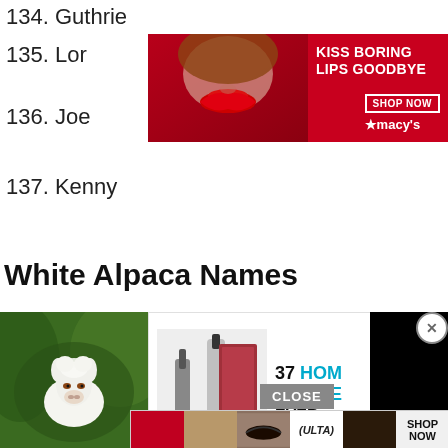134. Guthrie
135. Lore...
136. Joe...
137. Kenny
[Figure (photo): Macy's advertisement banner: red background with woman's face and red lips, text 'KISS BORING LIPS GOODBYE', 'SHOP NOW' button, Macy's star logo]
White Alpaca Names
[Figure (photo): Advertisement: '37 HOME KITCHEN EVERY SHOUL...' with kitchen gadget image and teal badge with '22']
[Figure (photo): White baby alpaca against green foliage background]
[Figure (photo): Ulta beauty advertisement banner with makeup images and 'SHOP NOW' button]
[Figure (other): Black video overlay rectangle with close X button]